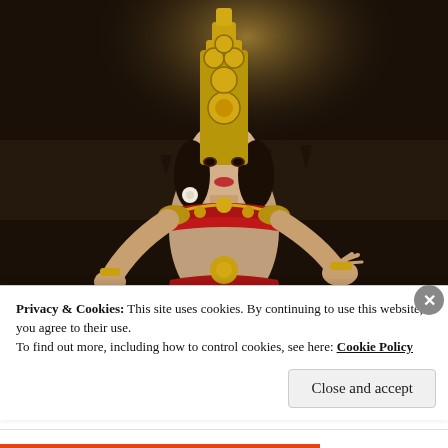[Figure (photo): A woman in traditional Cambodian Apsara dance costume with tall golden headdress, red and gold ornate garments, posing against a dark atmospheric background with water reflections.]
Privacy & Cookies: This site uses cookies. By continuing to use this website, you agree to their use.
To find out more, including how to control cookies, see here: Cookie Policy
Close and accept